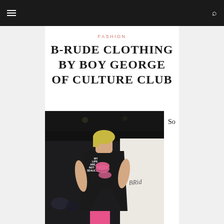Navigation bar with menu and search icons
FASHION
B-RUDE CLOTHING BY BOY GEORGE OF CULTURE CLUB
[Figure (photo): Fashion runway photo of a model wearing a black dress with pink lip prints and the text 'MY LIPS ARE NOT SEALED', with a high slit revealing pink stockings. A white backdrop with 'BRude' written in cursive is visible in the background.]
So